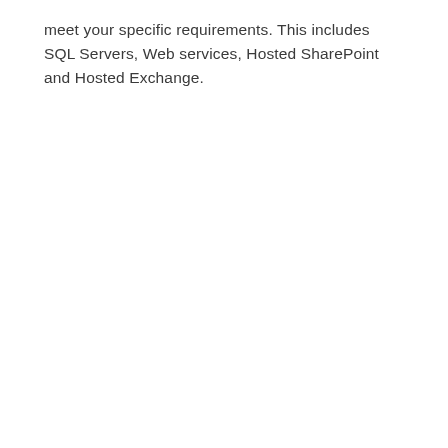meet your specific requirements. This includes SQL Servers, Web services, Hosted SharePoint and Hosted Exchange.